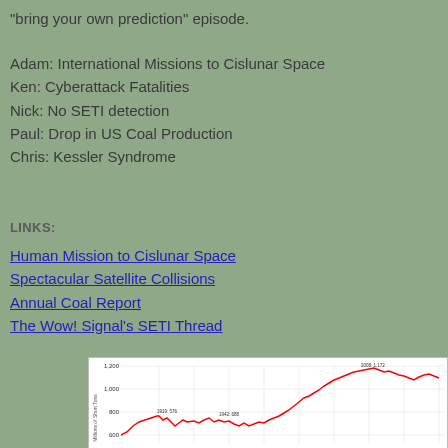"bring your own prediction" episode.
Adam: International Missions to Cislunar Space
Ken: Cyberattack Fatalities
Nick: No SETI detection
Paul: Drop in US Coal Production
Chris: Kessler Syndrome
LINKS:
Human Mission to Cislunar Space
Spectacular Satellite Collisions
Annual Coal Report
The Wow! Signal's SETI Thread
[Figure (line-chart): Red line chart showing US Coal Production data over time, with values around 600-1200 million short tons, with labels including 1919: 576, 1942: 688, 2008: 1,172]